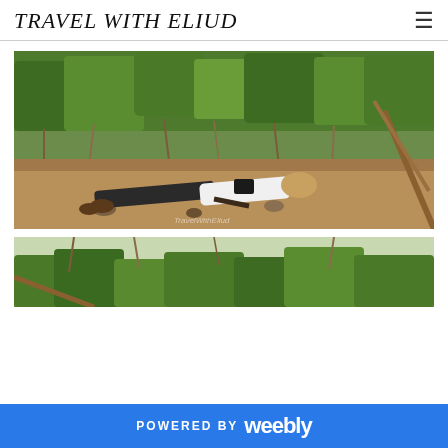TRAVEL WITH ELIUD
[Figure (photo): A photographer lying prone on dry dirt ground in a sparse bush landscape, wearing white shirt and dark trousers, with camera, surrounded by dry trees and green shrubbery. Watermark 'TravelWithEliud' visible.]
[Figure (photo): Partial view of a second photo showing a similar sparse bush/tree landscape with dry branches and some green foliage.]
POWERED BY weebly